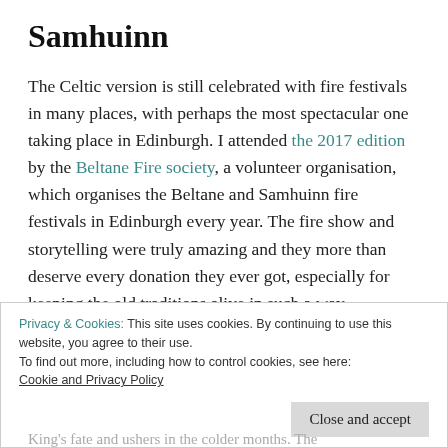Samhuinn
The Celtic version is still celebrated with fire festivals in many places, with perhaps the most spectacular one taking place in Edinburgh. I attended the 2017 edition by the Beltane Fire society, a volunteer organisation, which organises the Beltane and Samhuinn fire festivals in Edinburgh every year. The fire show and storytelling were truly amazing and they more than deserve every donation they ever got, especially for keeping the old traditions alive in such a way.
Privacy & Cookies: This site uses cookies. By continuing to use this website, you agree to their use.
To find out more, including how to control cookies, see here:
Cookie and Privacy Policy
Close and accept
King's fate and ushers in the colder months. The